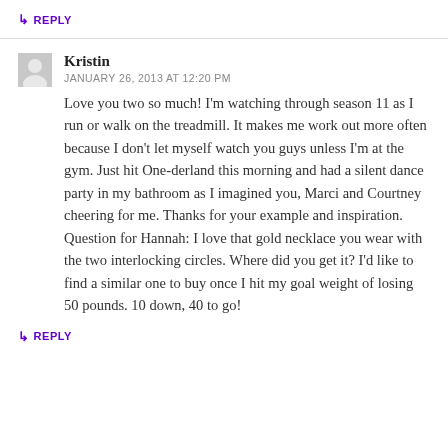↳ REPLY
Kristin
JANUARY 26, 2013 AT 12:20 PM
Love you two so much! I'm watching through season 11 as I run or walk on the treadmill. It makes me work out more often because I don't let myself watch you guys unless I'm at the gym. Just hit One-derland this morning and had a silent dance party in my bathroom as I imagined you, Marci and Courtney cheering for me. Thanks for your example and inspiration. Question for Hannah: I love that gold necklace you wear with the two interlocking circles. Where did you get it? I'd like to find a similar one to buy once I hit my goal weight of losing 50 pounds. 10 down, 40 to go!
↳ REPLY